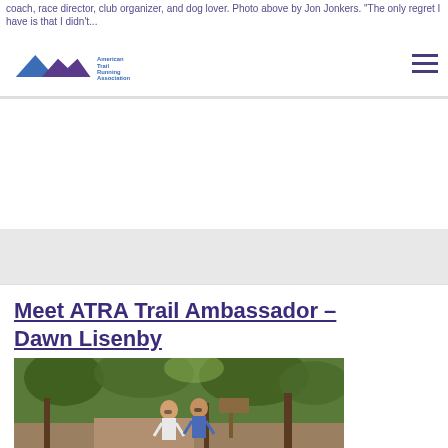...coach, race director, club organizer, and dog lover. Photo above by Jon Jonkers. "The only regret I have is that I didn't..."
[Figure (logo): American Trail Running Association (ATRA) logo with blue and purple mountain/triangle design]
Meet ATRA Trail Ambassador – Dawn Lisenby
Posted on July 6, 2017 by Nancy Hobbs
[Figure (photo): Two women standing on a trail in a wooded area, one wearing a blue singlet]